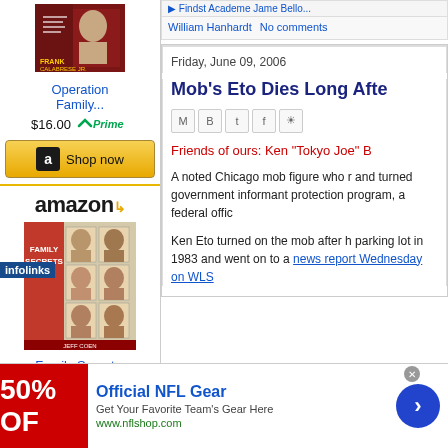[Figure (photo): Book cover for Operation Family with person image]
Operation Family...
$16.00  ✓Prime
[Figure (logo): Amazon shop now button with golden background]
[Figure (logo): Amazon logo with orange arrow]
[Figure (photo): Family Secrets book cover with mugshots grid]
Family Secrets:
infolinks
William Hanhardt    No comments
Friday, June 09, 2006
Mob's Eto Dies Long Afte
Friends of ours: Ken "Tokyo Joe" B
A noted Chicago mob figure who r and turned government informant protection program, a federal offic
Ken Eto turned on the mob after h parking lot in 1983 and went on to a news report Wednesday on WLS
[Figure (photo): NFL Official Gear advertisement with red background showing 50% OFF]
Official NFL Gear
Get Your Favorite Team's Gear Here
www.nflshop.com